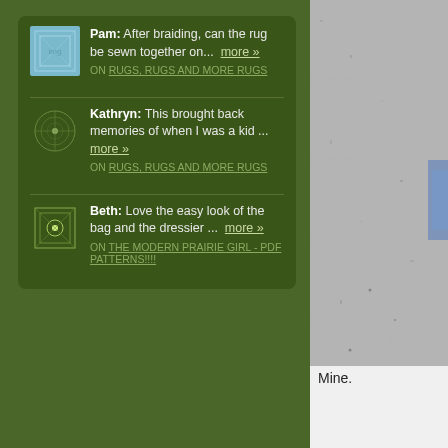Pam: After braiding, can the rug be sewn together on... more » ON RUGS, RUGS AND MORE RUGS
Kathryn: This brought back memories of when I was a kid ... more » ON RUGS, RUGS AND MORE RUGS
Beth: Love the easy look of the bag and the dressier ... more » ON THE MODERN PRAIRIE GIRL - PDF PATTERNS!!!!
[Figure (photo): Close-up photo of a textured gray surface, possibly concrete or stone, with a blue object partially visible on the right edge.]
Mine.